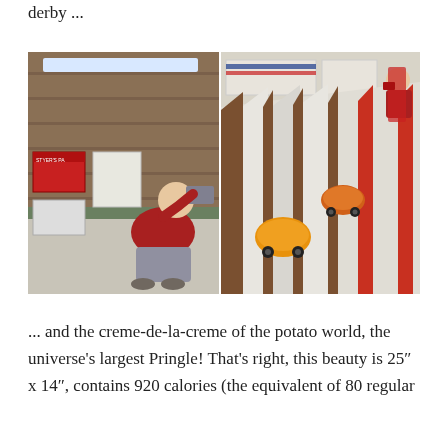derby ...
[Figure (photo): Two photos side by side: left photo shows a man in a red hoodie holding a device up to his eyes (like a viewfinder or binoculars) inside a wooden barn-like building with signs on the wall; right photo shows two small orange pumpkin-shaped race cars on a long white ramp/track with a person visible at the top of the ramp.]
... and the creme-de-la-creme of the potato world, the universe's largest Pringle! That's right, this beauty is 25″ x 14″, contains 920 calories (the equivalent of 80 regular